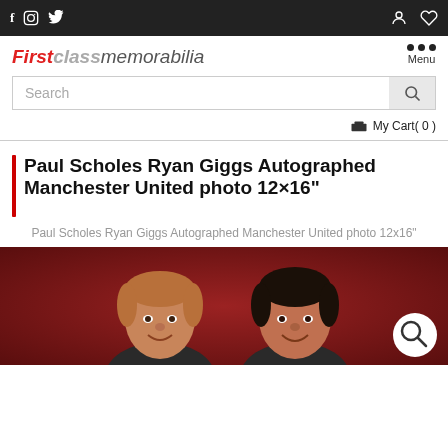FirstClassMemorabilia - Navigation bar with social icons (f, Instagram, Twitter) and account/wishlist icons, Menu
Search
My Cart( 0 )
Paul Scholes Ryan Giggs Autographed Manchester United photo 12×16"
Paul Scholes Ryan Giggs Autographed Manchester United photo 12x16"
[Figure (photo): Photo of Paul Scholes and Ryan Giggs, two former Manchester United footballers, smiling against a dark red background]